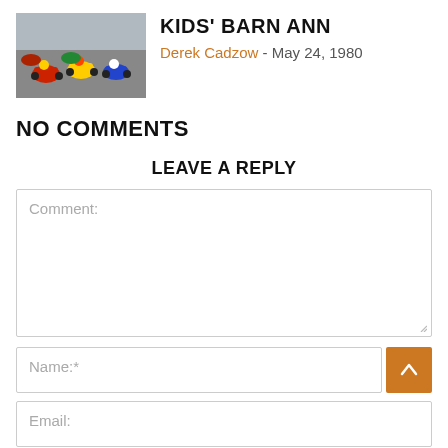[Figure (photo): Go-kart racing photo showing multiple karts on a track]
Kids' Barn Ann
Derek Cadzow - May 24, 1980
NO COMMENTS
LEAVE A REPLY
Comment:
Name:*
Email: